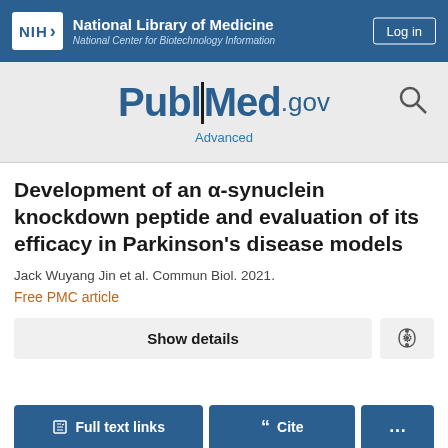NIH National Library of Medicine National Center for Biotechnology Information
[Figure (logo): PubMed.gov logo with search icon and Advanced link]
Development of an α-synuclein knockdown peptide and evaluation of its efficacy in Parkinson's disease models
Jack Wuyang Jin et al. Commun Biol. 2021.
Free PMC article
Show details
Full text links
Cite